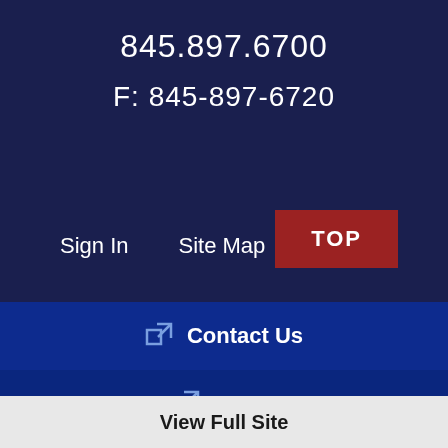845.897.6700
F: 845-897-6720
Sign In
Site Map
TOP
Contact Us
FAQ's
View Full Site